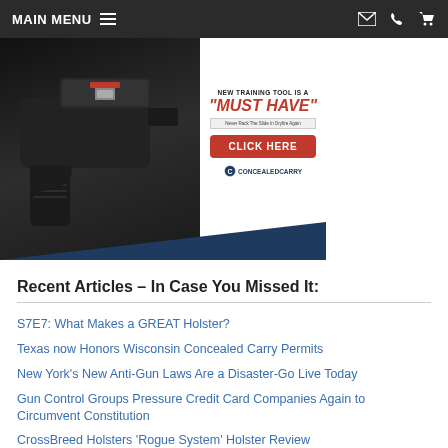MAIN MENU
[Figure (photo): Advertisement banner for a concealed carry training tool. Shows a firearm closeup on the left with text 'NEW TRAINING TOOL IS A "MUST HAVE"', 'Never Rack The Slide In Dryfire Again', a red CLICK HERE button, and ConcealedCarry.com logo.]
Recent Articles – In Case You Missed It:
S7E7: What Makes a GREAT Holster?
Texas now Honors Wisconsin Concealed Carry Permits
New York's New Anti-Gun Laws Are a Disaster-Go Live Today
Gun Control Groups Pressure Credit Card Companies Again to Circumvent Constitution
CrossBreed Holsters 'Rogue System' Holster Review